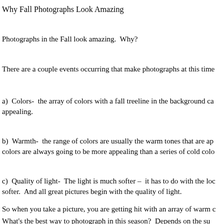Why Fall Photographs Look Amazing
Photographs in the Fall look amazing.  Why?
There are a couple events occurring that make photographs at this time
a)  Colors-  the array of colors with a fall treeline in the background ca appealing.
b)  Warmth-  the range of colors are usually the warm tones that are ap colors are always going to be more appealing than a series of cold colo
c)  Quality of light-  The light is much softer –  it has to do with the loc softer.  And all great pictures begin with the quality of light.
So when you take a picture, you are getting hit with an array of warm c
What's the best way to photograph in this season?  Depends on the su